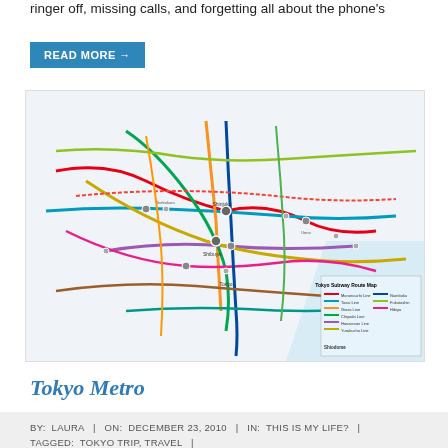ringer off, missing calls, and forgetting all about the phone's
READ MORE →
[Figure (map): Tokyo Subway Route Map showing the complex network of metro lines with colored routes, station names, and a legend in the bottom right corner.]
Tokyo Metro
BY: LAURA  |  ON: DECEMBER 23, 2010  |  IN: THIS IS MY LIFE?  |  TAGGED: TOKYO TRIP, TRAVEL  |